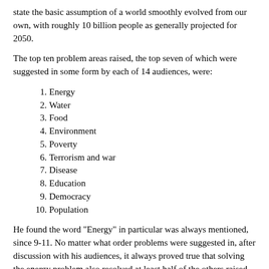state the basic assumption of a world smoothly evolved from our own, with roughly 10 billion people as generally projected for 2050.
The top ten problem areas raised, the top seven of which were suggested in some form by each of 14 audiences, were:
1. Energy
2. Water
3. Food
4. Environment
5. Poverty
6. Terrorism and war
7. Disease
8. Education
9. Democracy
10. Population
He found the word "Energy" in particular was always mentioned, since 9-11. No matter what order problems were suggested in, after discussion with his audiences, it always proved true that solving the energy problem also resolved at least half of the others raised. Here "solving the energy problem" means something like providing affordable energy (2 cents/kWh?) to everybody on the planet. For example, access to water depends on energy to pump